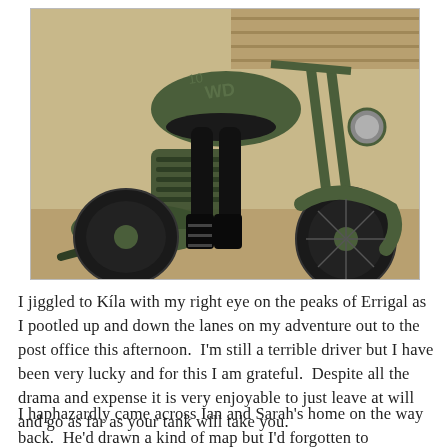[Figure (photo): A person in black tights and boots sitting on a military green vintage motorcycle, photographed from the side showing the engine, front fork, fender, and wheel. The tank has markings including 'WD'.]
I jiggled to Kíla with my right eye on the peaks of Errigal as I pootled up and down the lanes on my adventure out to the post office this afternoon.  I'm still a terrible driver but I have been very lucky and for this I am grateful.  Despite all the drama and expense it is very enjoyable to just leave at will and go as far as your tank will take you.
I haphazardly came across Ian and Sarah's home on the way back.  He'd drawn a kind of map but I'd forgotten to